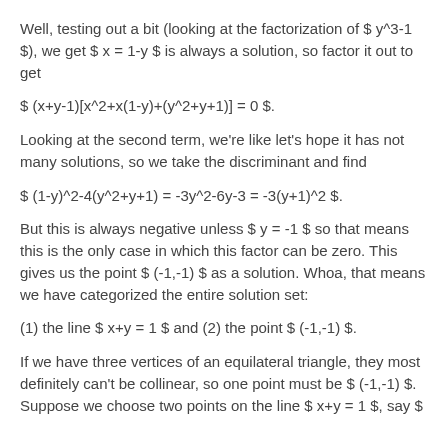Well, testing out a bit (looking at the factorization of $ y^3-1 $), we get $ x = 1-y $ is always a solution, so factor it out to get
Looking at the second term, we're like let's hope it has not many solutions, so we take the discriminant and find
But this is always negative unless $ y = -1 $ so that means this is the only case in which this factor can be zero. This gives us the point $ (-1,-1) $ as a solution. Whoa, that means we have categorized the entire solution set:
(1) the line $ x+y = 1 $ and (2) the point $ (-1,-1) $.
If we have three vertices of an equilateral triangle, they most definitely can't be collinear, so one point must be $ (-1,-1) $. Suppose we choose two points on the line $ x+y = 1 $, say $